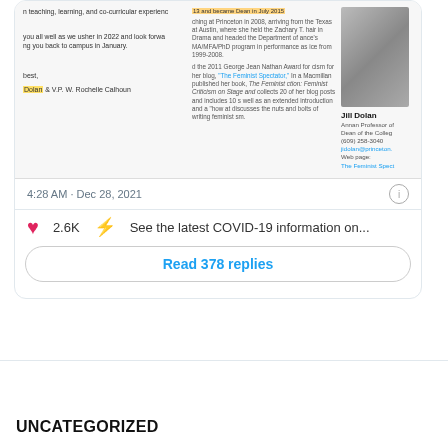[Figure (screenshot): Screenshot of a tweet showing a cropped email or message with text about teaching, learning, co-curricular experiences, welcoming back to campus in January 2022, signed by Dolan & V.P. W. Rochelle Calhoun, alongside a Princeton faculty profile for Jill Dolan with photo and contact info]
4:28 AM · Dec 28, 2021
2.6K    See the latest COVID-19 information on...
Read 378 replies
UNCATEGORIZED